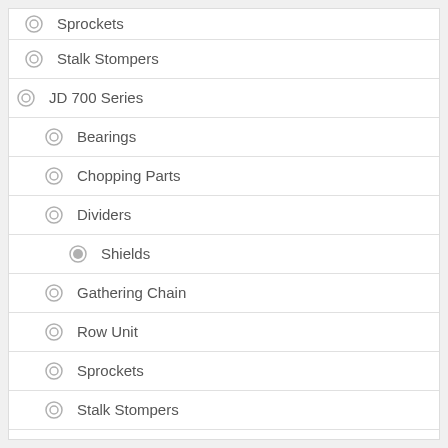Sprockets
Stalk Stompers
JD 700 Series
Bearings
Chopping Parts
Dividers
Shields
Gathering Chain
Row Unit
Sprockets
Stalk Stompers